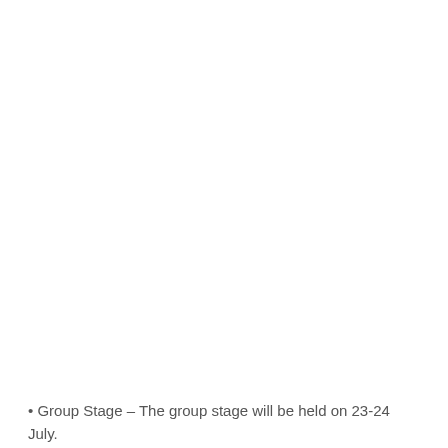[Figure (other): Small close/dismiss button with an X symbol, light grey background with border]
Group Stage – The group stage will be held on 23-24 July.